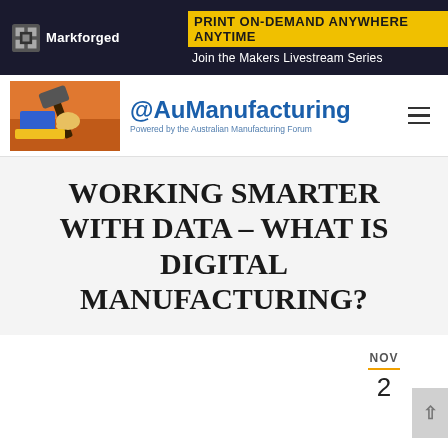[Figure (screenshot): Markforged banner advertisement with dark background, yellow headline 'PRINT ON-DEMAND ANYWHERE ANYTIME' and white subtext 'Join the Makers Livestream Series']
[Figure (logo): AuManufacturing website logo with illustrated image of hand holding hammer on orange background, followed by '@AuManufacturing' text in blue and 'Powered by the Australian Manufacturing Forum' subtitle, with hamburger menu icon]
WORKING SMARTER WITH DATA – WHAT IS DIGITAL MANUFACTURING?
NOV 2